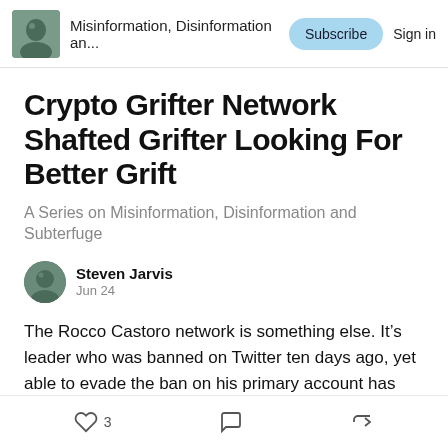Misinformation, Disinformation an... | Subscribe | Sign in
Crypto Grifter Network Shafted Grifter Looking For Better Grift
A Series on Misinformation, Disinformation and Subterfuge
Steven Jarvis
Jun 24
The Rocco Castoro network is something else. It’s leader who was banned on Twitter ten days ago, yet able to evade the ban on his primary account has been running Ops for quite some time.
3 | [comment icon] | [share icon]